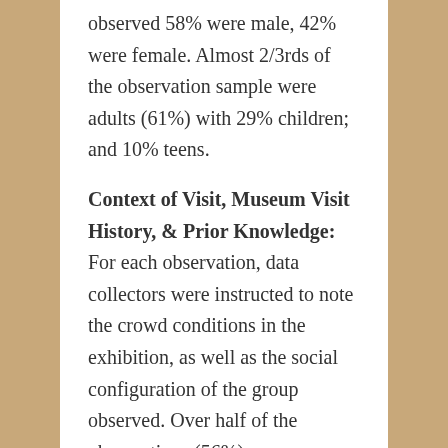observed 58% were male, 42% were female. Almost 2/3rds of the observation sample were adults (61%) with 29% children; and 10% teens.
Context of Visit, Museum Visit History, & Prior Knowledge: For each observation, data collectors were instructed to note the crowd conditions in the exhibition, as well as the social configuration of the group observed. Over half of the observations (56%) were conducted when attendance in the exhibition was low, while the rest of the observations (44%)